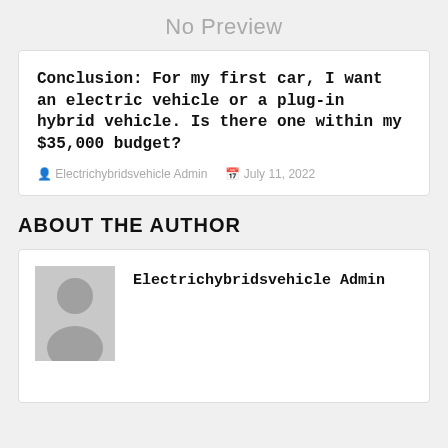No Preview
Conclusion: For my first car, I want an electric vehicle or a plug-in hybrid vehicle. Is there one within my $35,000 budget?
Electrichybridsvehicle Admin   July 11, 2022
ABOUT THE AUTHOR
[Figure (illustration): Generic user avatar silhouette placeholder image]
Electrichybridsvehicle Admin